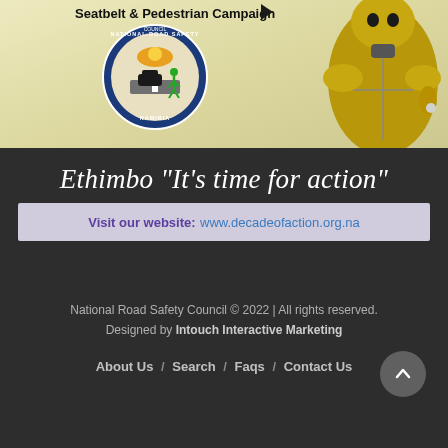[Figure (illustration): National Road Safety Council Seatbelt and Pedestrian Campaign banner with NRSC logo and crash test dummy figure on a yellowish background]
Ethimbo "It's time for action"
Visit our website: www.decadeofaction.org.na
National Road Safety Council © 2022 | All rights reserved. Designed by Intouch Interactive Marketing
About Us / Search / Faqs / Contact Us